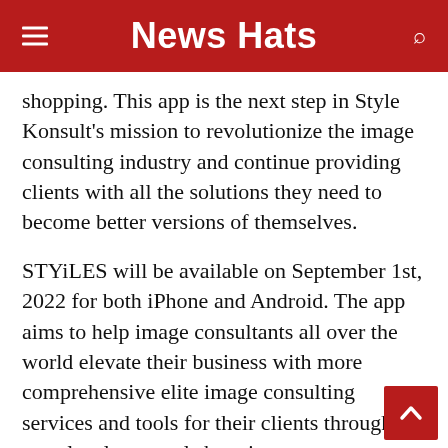News Hats
shopping. This app is the next step in Style Konsult's mission to revolutionize the image consulting industry and continue providing clients with all the solutions they need to become better versions of themselves.
STYiLES will be available on September 1st, 2022 for both iPhone and Android. The app aims to help image consultants all over the world elevate their business with more comprehensive elite image consulting services and tools for their clients through next-level personal shopping, custom tailoring, and client management features. With STYiLES, image consultants can create a community and build professional networks to